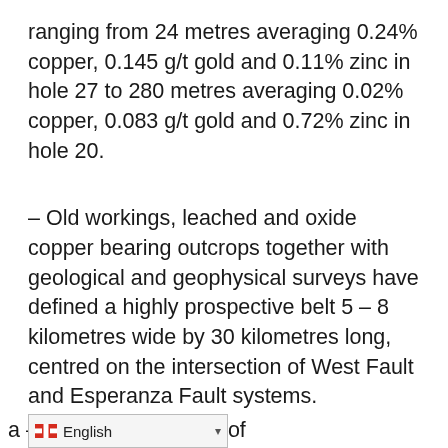ranging from 24 metres averaging 0.24% copper, 0.145 g/t gold and 0.11% zinc in hole 27 to 280 metres averaging 0.02% copper, 0.083 g/t gold and 0.72% zinc in hole 20.
– Old workings, leached and oxide copper bearing outcrops together with geological and geophysical surveys have defined a highly prospective belt 5 – 8 kilometres wide by 30 kilometres long, centred on the intersection of West Fault and Esperanza Fault systems.
– The property covers 25 kilometres of the West Fault, host to Codelco's El Norte Division Radomiro a – Mansa Mina group of